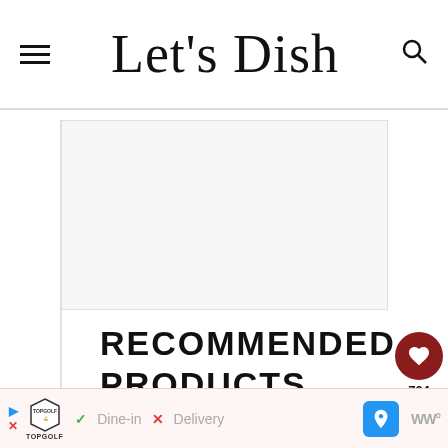Let's Dish
[Figure (other): Blank/white advertisement or image placeholder box]
RECOMMENDED PRODUCTS
As an Amazon Associate and member of other
[Figure (other): Bottom advertisement bar: Topgolf ad with Dine-in checkmark and Delivery X options, navigation arrow icon, and WW logo]